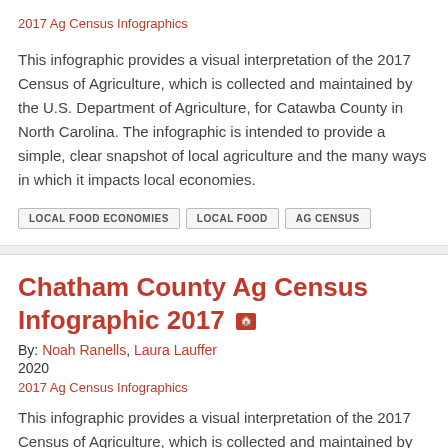2017 Ag Census Infographics
This infographic provides a visual interpretation of the 2017 Census of Agriculture, which is collected and maintained by the U.S. Department of Agriculture, for Catawba County in North Carolina. The infographic is intended to provide a simple, clear snapshot of local agriculture and the many ways in which it impacts local economies.
LOCAL FOOD ECONOMIES
LOCAL FOOD
AG CENSUS
Chatham County Ag Census Infographic 2017
By: Noah Ranells, Laura Lauffer
2020
2017 Ag Census Infographics
This infographic provides a visual interpretation of the 2017 Census of Agriculture, which is collected and maintained by the U.S. Department of Agriculture, for Chatham County in North Carolina. The infographic is intended to